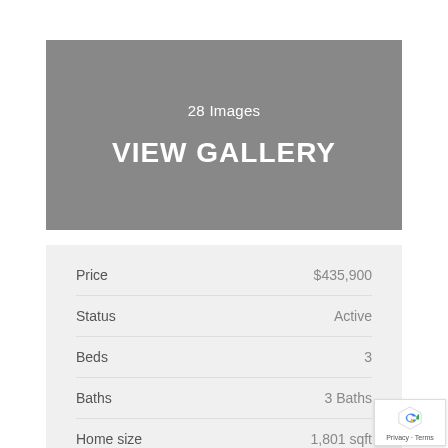[Figure (screenshot): Gray banner with '28 Images' subtitle and 'VIEW GALLERY' call-to-action button text]
| Price | $435,900 |
| Status | Active |
| Beds | 3 |
| Baths | 3 Baths |
| Home size | 1,801 sqft |
| Lot Size | n/a |